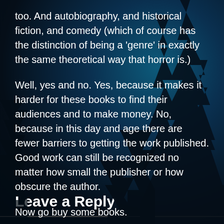too. And autobiography, and historical fiction, and comedy (which of course has the distinction of being a 'genre' in exactly the same theoretical way that horror is.)
Well, yes and no. Yes, because it makes it harder for these books to find their audiences and to make money. No, because in this day and age there are fewer barriers to getting the work published. Good work can still be recognized no matter how small the publisher or how obscure the author.
Now go buy some books.
Facebook
Twitter
Tumblr
Email
Leave a Reply